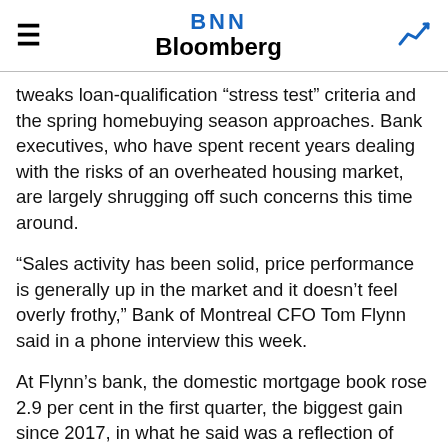BNN Bloomberg
tweaks loan-qualification “stress test” criteria and the spring homebuying season approaches. Bank executives, who have spent recent years dealing with the risks of an overheated housing market, are largely shrugging off such concerns this time around.
“Sales activity has been solid, price performance is generally up in the market and it doesn’t feel overly frothy,” Bank of Montreal CFO Tom Flynn said in a phone interview this week.
At Flynn’s bank, the domestic mortgage book rose 2.9 per cent in the first quarter, the biggest gain since 2017, in what he said was a reflection of healthy market conditions.
Toronto-Dominion’s domestic mortgage balances rose 3.5 per cent in the first quarter, the biggest year-over-year jump since 2016.
“Definitely the volume of transactions in the market do seem to be picking up and the market does seem to be active